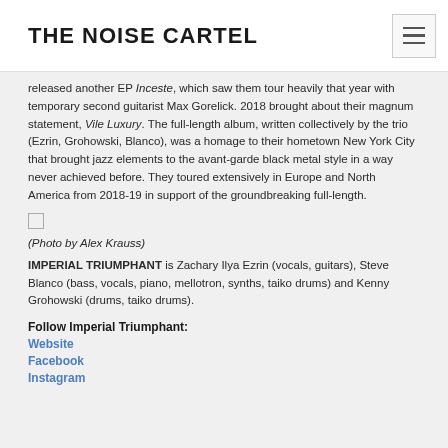THE NOISE CARTEL
released another EP Inceste, which saw them tour heavily that year with temporary second guitarist Max Gorelick. 2018 brought about their magnum statement, Vile Luxury. The full-length album, written collectively by the trio (Ezrin, Grohowski, Blanco), was a homage to their hometown New York City that brought jazz elements to the avant-garde black metal style in a way never achieved before. They toured extensively in Europe and North America from 2018-19 in support of the groundbreaking full-length.
(Photo by Alex Krauss)
IMPERIAL TRIUMPHANT is Zachary Ilya Ezrin (vocals, guitars), Steve Blanco (bass, vocals, piano, mellotron, synths, taiko drums) and Kenny Grohowski (drums, taiko drums).
Follow Imperial Triumphant:
Website
Facebook
Instagram